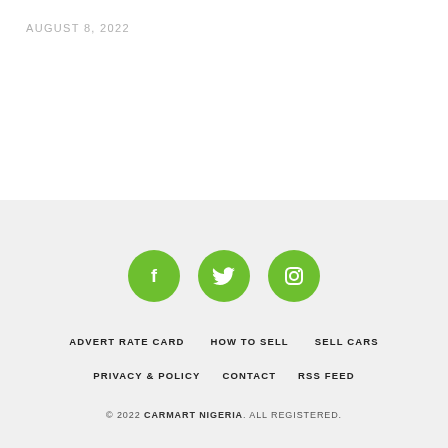AUGUST 8, 2022
[Figure (illustration): Three green circular social media icons: Facebook (f), Twitter (bird), Instagram (camera outline)]
ADVERT RATE CARD
HOW TO SELL
SELL CARS
PRIVACY & POLICY
CONTACT
RSS FEED
© 2022 CARMART NIGERIA. ALL REGISTERED.